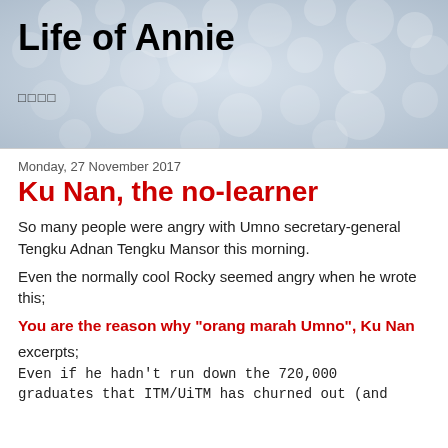[Figure (photo): Blog header banner with bokeh/blurred light circles background in grey-blue tones]
Life of Annie
□□□□
Monday, 27 November 2017
Ku Nan, the no-learner
So many people were angry with Umno secretary-general Tengku Adnan Tengku Mansor this morning.
Even the normally cool Rocky seemed angry when he wrote this;
You are the reason why "orang marah Umno", Ku Nan
excerpts;
Even if he hadn't run down the 720,000 graduates that ITM/UiTM has churned out (and